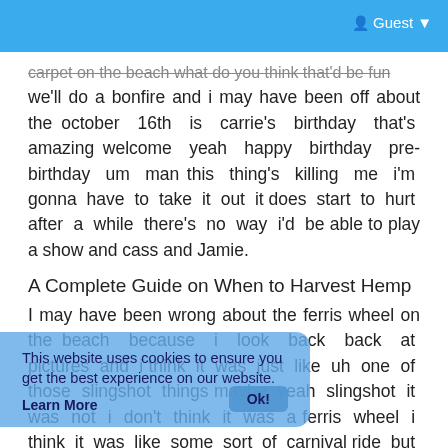Guest
carpet on the beach what do you think that'd be fun we'll do a bonfire and i may have been off about the october 16th is carrie's birthday that's amazing welcome yeah happy birthday pre-birthday um man this thing's killing me i'm gonna have to take it out it does start to hurt after a while there's no way i'd be able to play a show and cass and Jamie.
A Complete Guide on When to Harvest Hemp
I may have been wrong about the ferris wheel on the beach because i look back back at pictures and i think it was just like uh one of those slingshot things maybe yeah slingshot it was not i don't think it was a ferris wheel i think it was like some sort of carnival ride but we need to do one of those slingshot videos uh no yeah we pass out no like yeah no there's no way that's happening come on you know you want to hemp pain relief cream uk wow my ear really hurts
This website uses cookies to ensure you get the best experience on our website. Learn More Ok!